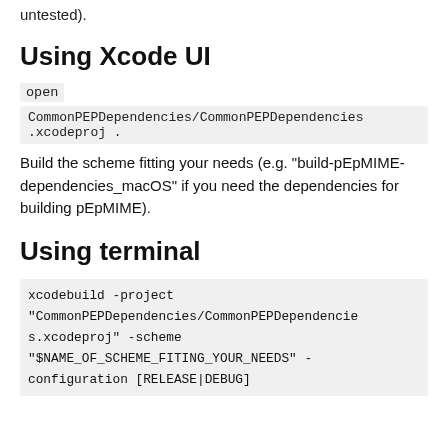untested).
Using Xcode UI
open CommonPEPDependencies/CommonPEPDependencies.xcodeproj .
Build the scheme fitting your needs (e.g. "build-pEpMIME-dependencies_macOS" if you need the dependencies for building pEpMIME).
Using terminal
xcodebuild -project "CommonPEPDependencies/CommonPEPDependencies.xcodeproj" -scheme "$NAME_OF_SCHEME_FITING_YOUR_NEEDS" -configuration [RELEASE|DEBUG]